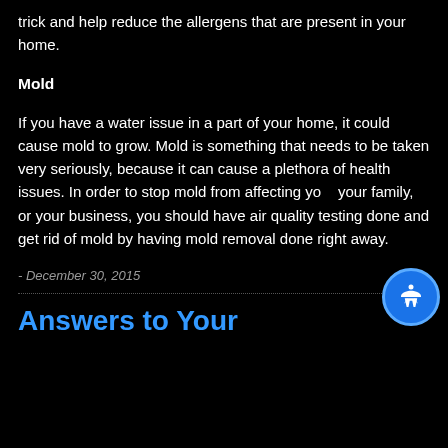trick and help reduce the allergens that are present in your home.
Mold
If you have a water issue in a part of your home, it could cause mold to grow. Mold is something that needs to be taken very seriously, because it can cause a plethora of health issues. In order to stop mold from affecting you, your family, or your business, you should have air quality testing done and get rid of mold by having mold removal done right away.
- December 30, 2015
Answers to Your